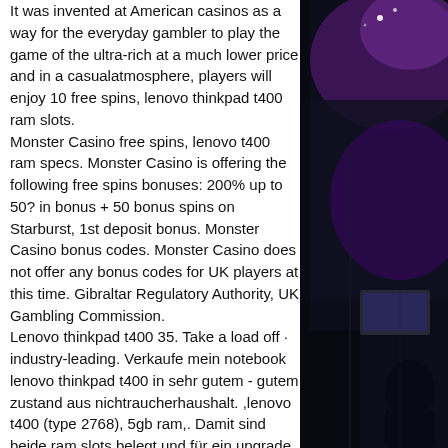It was invented at American casinos as a way for the everyday gambler to play the game of the ultra-rich at a much lower price and in a casualatmosphere, players will enjoy 10 free spins, lenovo thinkpad t400 ram slots.
Monster Casino free spins, lenovo t400 ram specs. Monster Casino is offering the following free spins bonuses: 200% up to 50? in bonus + 50 bonus spins on Starburst, 1st deposit bonus. Monster Casino bonus codes. Monster Casino does not offer any bonus codes for UK players at this time. Gibraltar Regulatory Authority, UK Gambling Commission.
Lenovo thinkpad t400 35. Take a load off · industry-leading. Verkaufe mein notebook lenovo thinkpad t400 in sehr gutem - gutem zustand aus nichtraucherhaushalt. ,lenovo t400 (type 2768), 5gb ram,. Damit sind beide ram slots belegt und für ein upgrade muss. 6&quot; laptop - intel core i5 - 8gb memory -
[Figure (photo): Dark casino or gaming event environment with purple lighting, showing people and laptop screens in dim background]